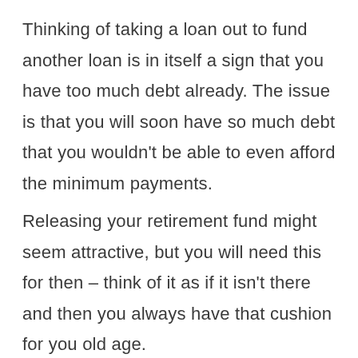Thinking of taking a loan out to fund another loan is in itself a sign that you have too much debt already. The issue is that you will soon have so much debt that you wouldn't be able to even afford the minimum payments.
Releasing your retirement fund might seem attractive, but you will need this for then – think of it as if it isn't there and then you always have that cushion for you old age.